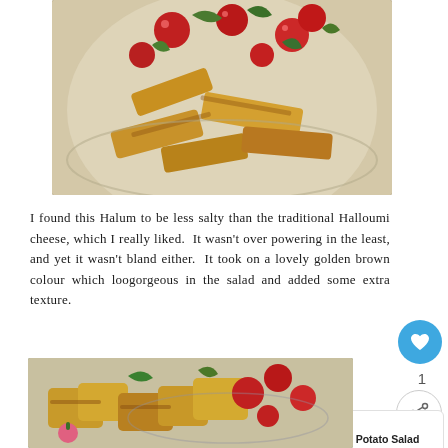[Figure (photo): Close-up photo of a salad dish with grilled halloumi/halum cheese strips, red cherry tomatoes or berries, and green herbs/arugula on a plate.]
I found this Halum to be less salty than the traditional Halloumi cheese, which I really liked. It wasn't over powering in the least, and yet it wasn't bland either. It took on a lovely golden brown colour which looked gorgeous in the salad and added some extra texture.
[Figure (photo): Close-up photo of grilled halum cheese cubes with cherry tomatoes, green basil leaves and radishes on a plate.]